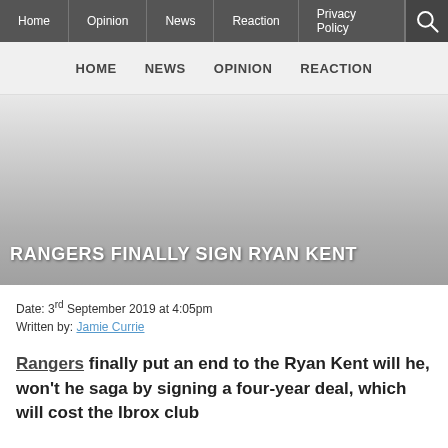Home | Opinion | News | Reaction | Privacy Policy
HOME  NEWS  OPINION  REACTION
[Figure (photo): Hero image with blurred/faded background and white text overlay reading RANGERS FINALLY SIGN RYAN KENT]
Date: 3rd September 2019 at 4:05pm
Written by: Jamie Currie
Rangers finally put an end to the Ryan Kent will he, won't he saga by signing a four-year deal, which will cost the Ibrox club